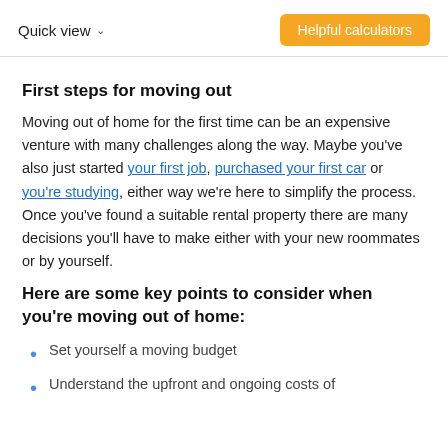Quick view   Helpful calculators
First steps for moving out
Moving out of home for the first time can be an expensive venture with many challenges along the way. Maybe you've also just started your first job, purchased your first car or you're studying, either way we're here to simplify the process.  Once you've found a suitable rental property there are many decisions you'll have to make either with your new roommates or by yourself.
Here are some key points to consider when you're moving out of home:
Set yourself a moving budget
Understand the upfront and ongoing costs of